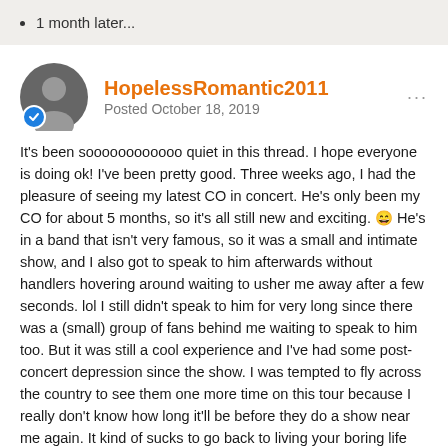1 month later...
HopelessRomantic2011
Posted October 18, 2019
It's been soooooooooooo quiet in this thread. I hope everyone is doing ok! I've been pretty good. Three weeks ago, I had the pleasure of seeing my latest CO in concert. He's only been my CO for about 5 months, so it's all still new and exciting. 😄 He's in a band that isn't very famous, so it was a small and intimate show, and I also got to speak to him afterwards without handlers hovering around waiting to usher me away after a few seconds. lol I still didn't speak to him for very long since there was a (small) group of fans behind me waiting to speak to him too. But it was still a cool experience and I've had some post-concert depression since the show. I was tempted to fly across the country to see them one more time on this tour because I really don't know how long it'll be before they do a show near me again. It kind of sucks to go back to living your boring life after you've